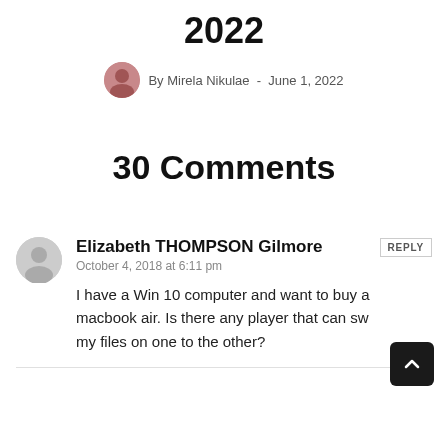2022
By Mirela Nikulae - June 1, 2022
30 Comments
Elizabeth THOMPSON Gilmore
October 4, 2018 at 6:11 pm
I have a Win 10 computer and want to buy a macbook air. Is there any player that can sw my files on one to the other?